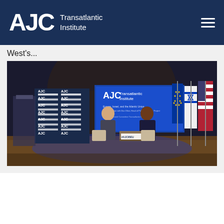AJC Transatlantic Institute
West's...
[Figure (photo): Two men seated on stage at an AJC Transatlantic Institute event in a grand hall, with AJC branded banners, Israeli, EU, and US flags in the background, and a podium with AJC branding on the left. A #AJCIBEU sign is visible on a table between them.]
June 20, 2017
Tectonic Shifts in the Middle